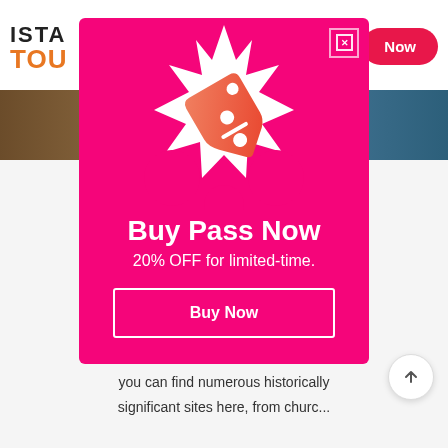[Figure (screenshot): Background website page for Istanbul Tours with logo, navigation button showing 'Now', image strip of Istanbul, and partially visible text about Istanbul]
[Figure (infographic): Pink promotional modal popup with discount tag icon, title 'Buy Pass Now', subtitle '20% OFF for limited-time.', and a 'Buy Now' button with white border]
Buy Pass Now
20% OFF for limited-time.
Buy Now